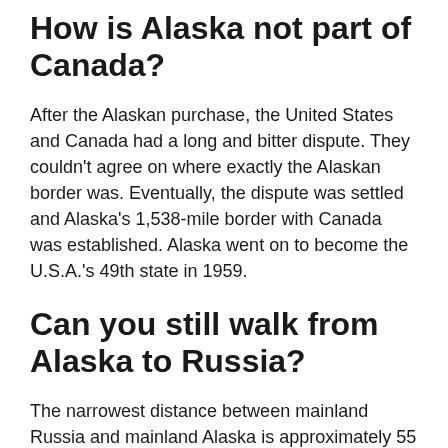How is Alaska not part of Canada?
After the Alaskan purchase, the United States and Canada had a long and bitter dispute. They couldn't agree on where exactly the Alaskan border was. Eventually, the dispute was settled and Alaska’s 1,538-mile border with Canada was established. Alaska went on to become the U.S.A.’s 49th state in 1959.
Can you still walk from Alaska to Russia?
The narrowest distance between mainland Russia and mainland Alaska is approximately 55 miles.... The stretch of water between